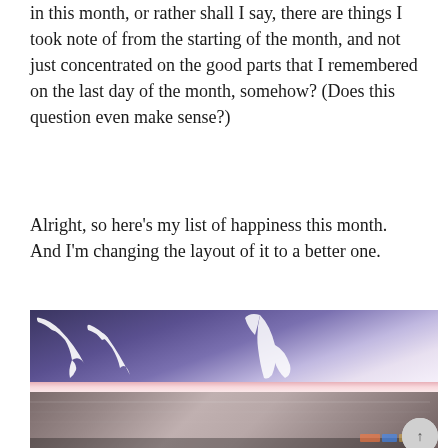in this month, or rather shall I say, there are things I took note of from the starting of the month, and not just concentrated on the good parts that I remembered on the last day of the month, somehow? (Does this question even make sense?)
Alright, so here's my list of happiness this month. And I'm changing the layout of it to a better one.
[Figure (photo): Two stacked photos: top shows a dark blue/purple background with white bird/figure silhouettes; a pink separator strip; bottom shows the lid of an HP laptop with the HP logo visible, reflected metallic surface with some colorful reflections at the bottom right.]